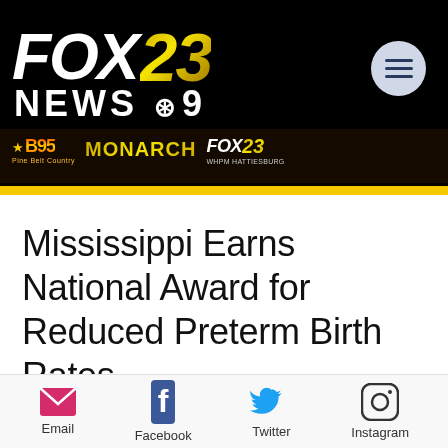[Figure (logo): FOX 23 News @ 9 television station header banner with black background, yellow accent bar, FOX23 logo in white and gold italic text, NEWS @9 subtitle, hamburger menu circle, and sub-logos for B95 Pine Belt Country, Monarch, and FOX23 WHPM Hattiesburg]
Mississippi Earns National Award for Reduced Preterm Birth Rates
[Figure (infographic): Social sharing bar with Email, Facebook, Twitter, and Instagram icons and labels]